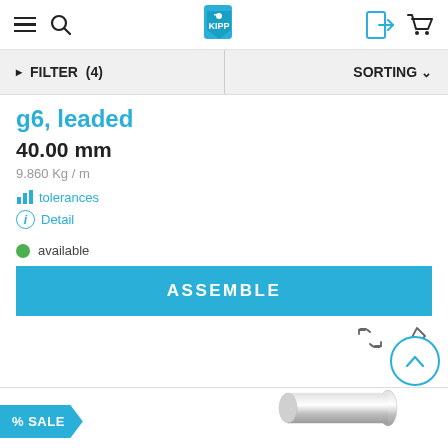[Figure (screenshot): Navigation bar with hamburger menu, search icon, logo tag icon, login icon, and cart icon]
FILTER (4)
SORTING
g6, leaded
40.00 mm
9.860 Kg / m
tolerances
Detail
available
ASSEMBLE
% SALE
[Figure (photo): Partial view of a metal bar/rod product in silver-gray at bottom right]